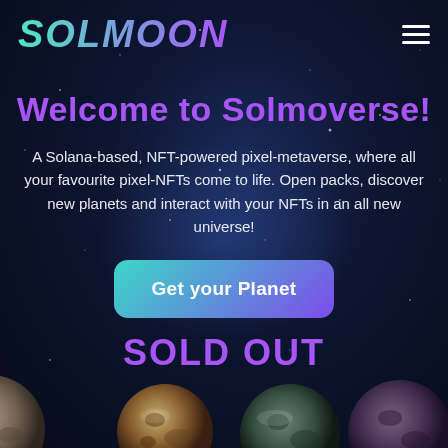SOLMOON
Welcome to Solmoverse!
A Solana-based, NFT-powered pixel-metaverse, where all your favourite pixel-NFTs come to life. Open packs, discover new planets and interact with your NFTs in an all new universe!
Get your Planet
SOLD OUT
[Figure (illustration): Row of pixel-art planets along the bottom of the page against a dark space background]